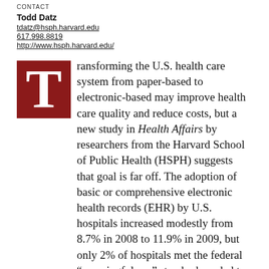CONTACT
Todd Datz
tdatz@hsph.harvard.edu
617.998.8819
http://www.hsph.harvard.edu/
Transforming the U.S. health care system from paper-based to electronic-based may improve health care quality and reduce costs, but a new study in Health Affairs by researchers from the Harvard School of Public Health (HSPH) suggests that goal is far off. The adoption of basic or comprehensive electronic health records (EHR) by U.S. hospitals increased modestly from 8.7% in 2008 to 11.9% in 2009, but only 2% of hospitals met the federal “meaningful use” standard needed to qualify for government financial incentives.
The researchers also found that smaller, rural, and